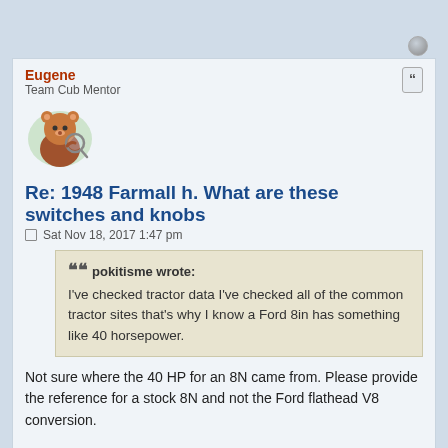Eugene
Team Cub Mentor
[Figure (illustration): Avatar of a cartoon bear holding a magnifying glass]
Re: 1948 Farmall h. What are these switches and knobs
Sat Nov 18, 2017 1:47 pm
pokitisme wrote: I've checked tractor data I've checked all of the common tractor sites that's why I know a Ford 8in has something like 40 horsepower.
Not sure where the 40 HP for an 8N came from. Please provide the reference for a stock 8N and not the Ford flathead V8 conversion.
You need to read through the Nebraska tests on the various tractors. Check to see how each tractor was weighted for the tests.
The advertised HP is frequently from either the belt pulley or the PTO. Most tractor work is done with the drawbar. Next consideration is the weight of the tractor compared to the towed weight/load.
From Tractordata.com.